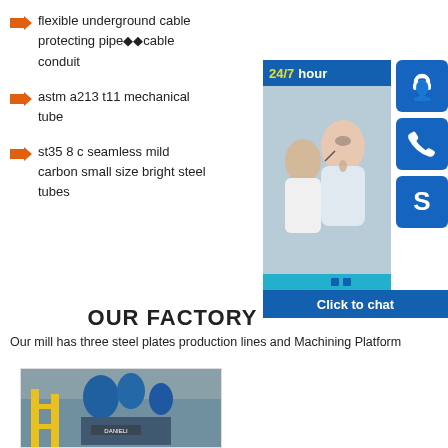flexible underground cable
protecting pipe cable conduit
astm a213 t11 mechanical tube
st35 8 c seamless mild carbon small size bright steel tubes
[Figure (photo): 24/7 hour customer support chat widget with photo of support agents, headset icons, phone icon, Skype icon, and Click to chat button]
OUR FACTORY
Our mill has three steel plates production lines and Machining Platform
[Figure (photo): Factory floor photo showing industrial equipment, yellow scaffolding and blue machinery with Danieli branding]